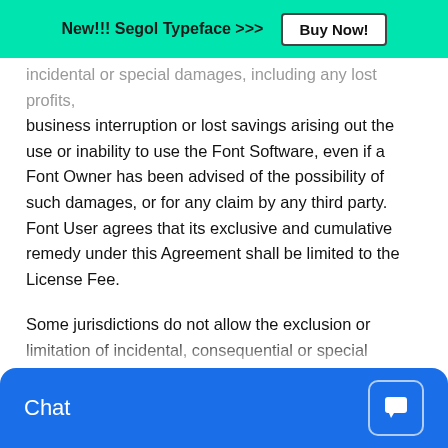New!!! Segol Typeface >>> Buy Now!
incidental or special damages, including any lost profits, business interruption or lost savings arising out the use or inability to use the Font Software, even if a Font Owner has been advised of the possibility of such damages, or for any claim by any third party. Font User agrees that its exclusive and cumulative remedy under this Agreement shall be limited to the License Fee.
Some jurisdictions do not allow the exclusion or limitation of incidental, consequential or special damages, implied warranties or implied warranties as they relate to sales to consumers. ANY IMPLIED WARRANTY OR OTHER RIGHT CREATED BY LAW IS ONLY EFFECTIVE FOR THE NINETY (90) DAY WARRANTY PERIOD. THERE ARE NO WARRANTIES OR CONDITIONS OF ANY KIND AFTER THE NINETY (90) DAY WARRANTY PERIOD. To the extent permissible by law, you agree that all implied warranties are not to be
Chat